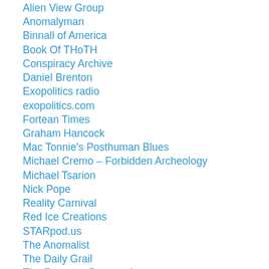Alien View Group
Anomalyman
Binnall of America
Book Of THoTH
Conspiracy Archive
Daniel Brenton
Exopolitics radio
exopolitics.com
Fortean Times
Graham Hancock
Mac Tonnie's Posthuman Blues
Michael Cremo – Forbidden Archeology
Michael Tsarion
Nick Pope
Reality Carnival
Red Ice Creations
STARpod.us
The Anomalist
The Daily Grail
The Freeman Perspective